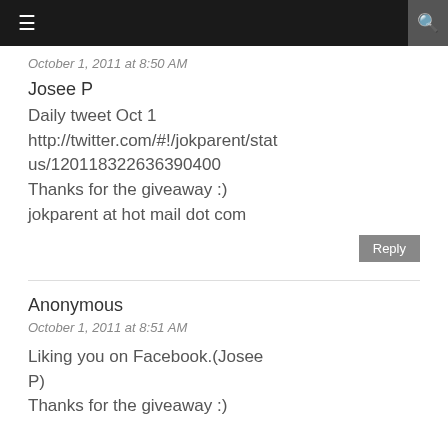≡  🔍
October 1, 2011 at 8:50 AM
Josee P
Daily tweet Oct 1
http://twitter.com/#!/jokparent/status/120118322636390400
Thanks for the giveaway :)
jokparent at hot mail dot com
Anonymous
October 1, 2011 at 8:51 AM
Liking you on Facebook.(Josee P)
Thanks for the giveaway :)